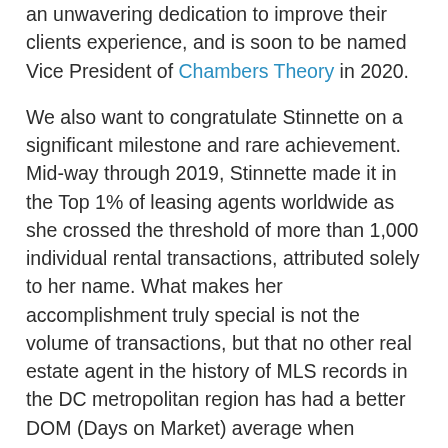an unwavering dedication to improve their clients experience, and is soon to be named Vice President of Chambers Theory in 2020.
We also want to congratulate Stinnette on a significant milestone and rare achievement. Mid-way through 2019, Stinnette made it in the Top 1% of leasing agents worldwide as she crossed the threshold of more than 1,000 individual rental transactions, attributed solely to her name. What makes her accomplishment truly special is not the volume of transactions, but that no other real estate agent in the history of MLS records in the DC metropolitan region has had a better DOM (Days on Market) average when considering 1000 rental transactions or more! Not only that, her rental listings rented more than 15% faster than the next best (handing